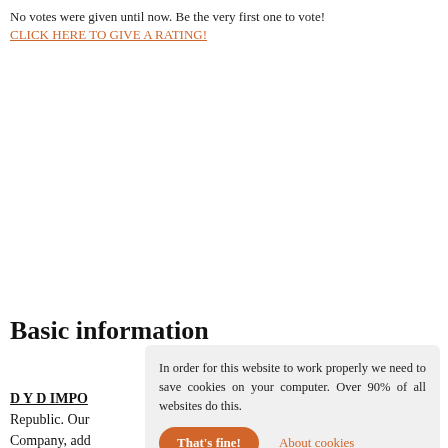No votes were given until now. Be the very first one to vote!
CLICK HERE TO GIVE A RATING!
Basic information
D Y D IMPO
Republic. Our
Company, add
In order for this website to work properly we need to save cookies on your computer. Over 90% of all websites do this.
That's fine!
About cookies